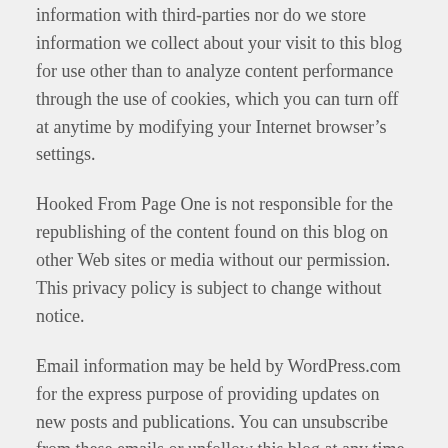information with third-parties nor do we store information we collect about your visit to this blog for use other than to analyze content performance through the use of cookies, which you can turn off at anytime by modifying your Internet browser’s settings.
Hooked From Page One is not responsible for the republishing of the content found on this blog on other Web sites or media without our permission. This privacy policy is subject to change without notice.
Email information may be held by WordPress.com for the express purpose of providing updates on new posts and publications. You can unsubscribe from these emails or unfollow this blog at any time by following the links in the email.